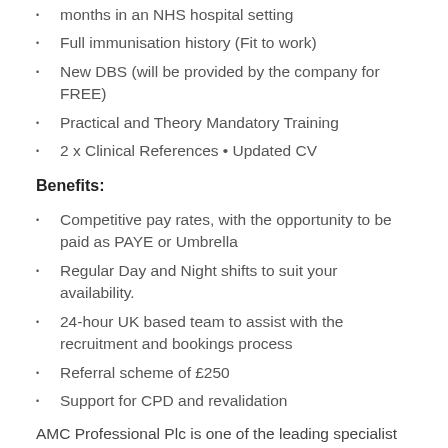months in an NHS hospital setting
Full immunisation history (Fit to work)
New DBS (will be provided by the company for FREE)
Practical and Theory Mandatory Training
2 x Clinical References • Updated CV
Benefits:
Competitive pay rates, with the opportunity to be paid as PAYE or Umbrella
Regular Day and Night shifts to suit your availability.
24-hour UK based team to assist with the recruitment and bookings process
Referral scheme of £250
Support for CPD and revalidation
AMC Professional Plc is one of the leading specialist recruitment agencies with preferred supplier status with various NHS clients nationwide. We are a clinically led